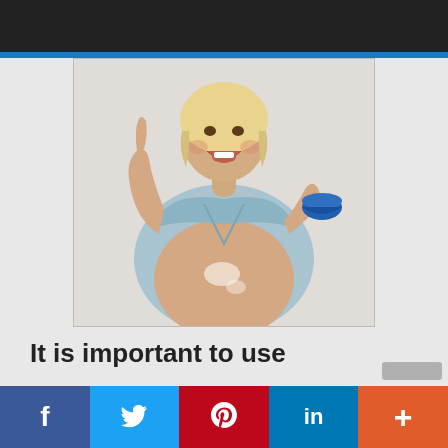Navigation bar with hamburger menu and search icon
[Figure (photo): A happy pregnant woman in a light blue sleeveless top, laughing with mouth open, holding a blue bowl in her right hand and raising her left hand with a finger pointing up. Her exposed belly has cream applied to it. White background.]
It is important to use
Social share buttons: Facebook, Twitter, Pinterest, LinkedIn, More